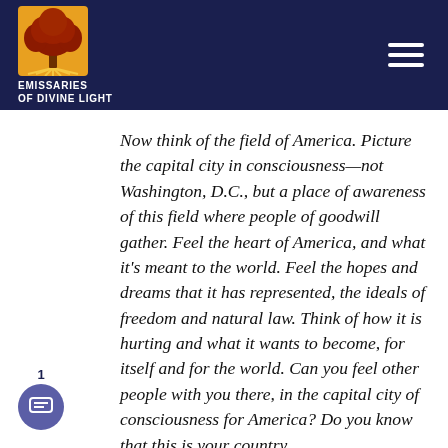Emissaries of Divine Light
Now think of the field of America. Picture the capital city in consciousness—not Washington, D.C., but a place of awareness of this field where people of goodwill gather. Feel the heart of America, and what it's meant to the world. Feel the hopes and dreams that it has represented, the ideals of freedom and natural law. Think of how it is hurting and what it wants to become, for itself and for the world. Can you feel other people with you there, in the capital city of consciousness for America? Do you know that this is your country,